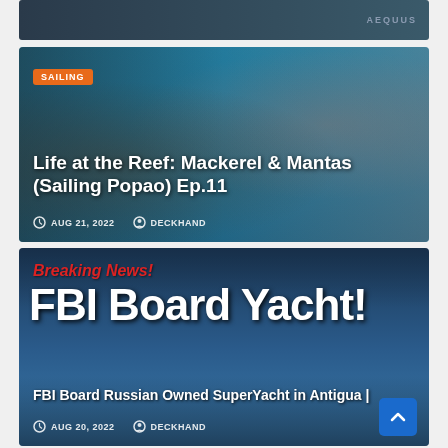[Figure (screenshot): Partial top card with dark ocean theme and AEQUUS logo watermark]
[Figure (photo): Sailing article card with underwater/reef photo background showing two people and a fish]
SAILING
Life at the Reef: Mackerel & Mantas (Sailing Popao) Ep.11
AUG 21, 2022   DECKHAND
[Figure (photo): Breaking news card about FBI boarding a Russian-owned superyacht in Antigua, with yacht harbor photo background]
Breaking News!
FBI Board Yacht!
FBI Board Russian Owned SuperYacht in Antigua |
AUG 20, 2022   DECKHAND